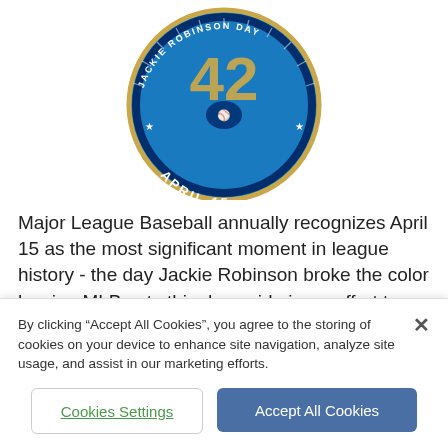[Figure (logo): MLB Jackie Robinson Day circular logo showing number 42, 'APRIL 15' text, and MLB silhouette batter logo on blue background with gold ring]
Major League Baseball annually recognizes April 15 as the most significant moment in league history - the day Jackie Robinson broke the color barrier. MLB sets this day aside in an effort to highlight the life, values and accomplishments of Jackie Robinson. All players throughout the league wear #42 on this day every year.
By clicking “Accept All Cookies”, you agree to the storing of cookies on your device to enhance site navigation, analyze site usage, and assist in our marketing efforts.